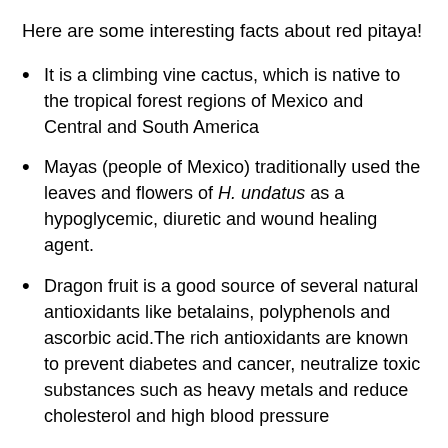Here are some interesting facts about red pitaya!
It is a climbing vine cactus, which is native to the tropical forest regions of Mexico and Central and South America
Mayas (people of Mexico) traditionally used the leaves and flowers of H. undatus as a hypoglycemic, diuretic and wound healing agent.
Dragon fruit is a good source of several natural antioxidants like betalains, polyphenols and ascorbic acid.The rich antioxidants are known to prevent diabetes and cancer, neutralize toxic substances such as heavy metals and reduce cholesterol and high blood pressure
Dragon fruit extract is adequate to formulate